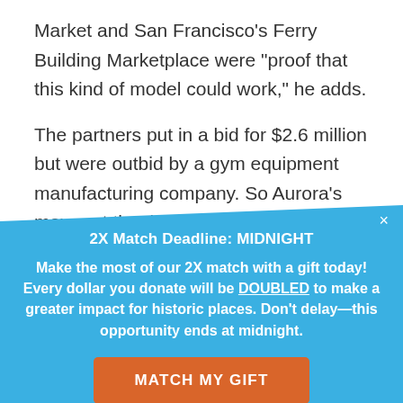Market and San Francisco’s Ferry Building Marketplace were “proof that this kind of model could work,” he adds.
The partners put in a bid for $2.6 million but were outbid by a gym equipment manufacturing company. So Aurora’s mayor at the time, the late Steve Hogan,
2X Match Deadline: MIDNIGHT
Make the most of our 2X match with a gift today! Every dollar you donate will be DOUBLED to make a greater impact for historic places. Don’t delay—this opportunity ends at midnight.
MATCH MY GIFT